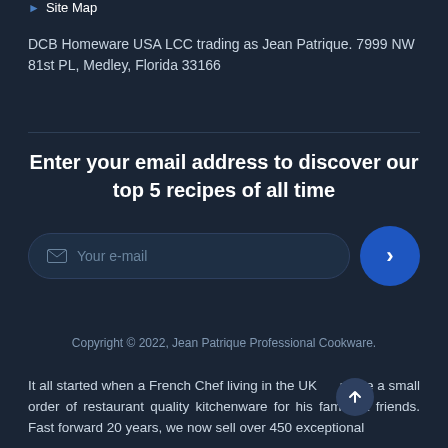Site Map
DCB Homeware USA LCC trading as Jean Patrique. 7999 NW 81st PL, Medley, Florida 33166
Enter your email address to discover our top 5 recipes of all time
Copyright © 2022, Jean Patrique Professional Cookware.
It all started when a French Chef living in the UK made a small order of restaurant quality kitchenware for his family & friends. Fast forward 20 years, we now sell over 450 exceptional